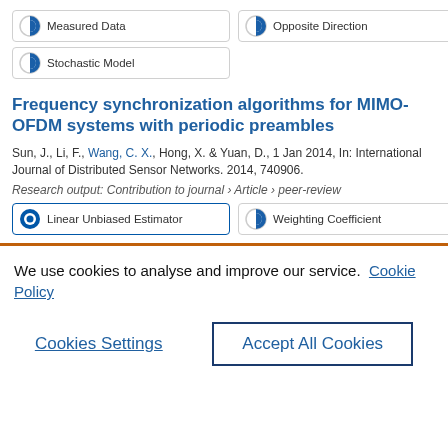Measured Data
Opposite Direction
Stochastic Model
Frequency synchronization algorithms for MIMO-OFDM systems with periodic preambles
Sun, J., Li, F., Wang, C. X., Hong, X. & Yuan, D., 1 Jan 2014, In: International Journal of Distributed Sensor Networks. 2014, 740906.
Research output: Contribution to journal › Article › peer-review
Linear Unbiased Estimator
Weighting Coefficient
We use cookies to analyse and improve our service. Cookie Policy
Cookies Settings
Accept All Cookies